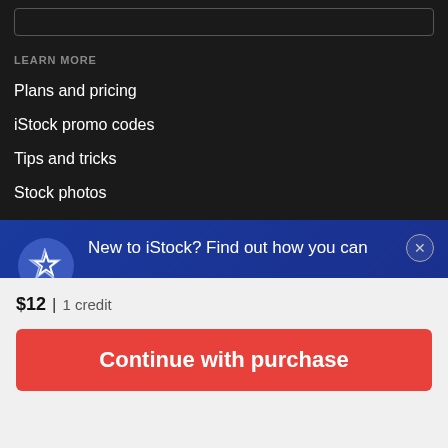[Figure (screenshot): Search bar input box with dark border on dark background]
LEARN MORE
Plans and pricing
iStock promo codes
Tips and tricks
Stock photos
New to iStock? Find out how you can get special savings on your favorite images and videos. See details
$12 | 1 credit
Continue with purchase